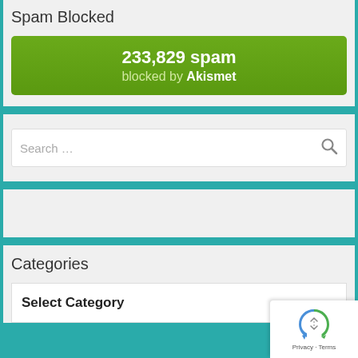Spam Blocked
233,829 spam blocked by Akismet
[Figure (other): Search bar with magnifying glass icon and placeholder text 'Search ...']
Categories
Select Category
[Figure (other): Google reCAPTCHA badge with rotating arrow logo and Privacy - Terms links]